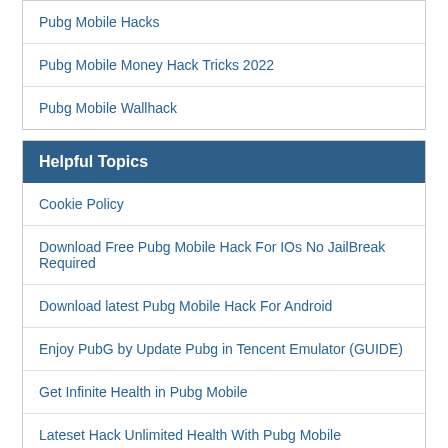Pubg Mobile Hacks
Pubg Mobile Money Hack Tricks 2022
Pubg Mobile Wallhack
Helpful Topics
Cookie Policy
Download Free Pubg Mobile Hack For IOs No JailBreak Required
Download latest Pubg Mobile Hack For Android
Enjoy PubG by Update Pubg in Tencent Emulator (GUIDE)
Get Infinite Health in Pubg Mobile
Lateset Hack Unlimited Health With Pubg Mobile
Latest Pubg Mobile Hack Aimbot 100% Working
Latest Pubg Mobile Hack Version List And Installation Guide
PubG Army Attack Game Download 2022
PUBG Free Hacks...